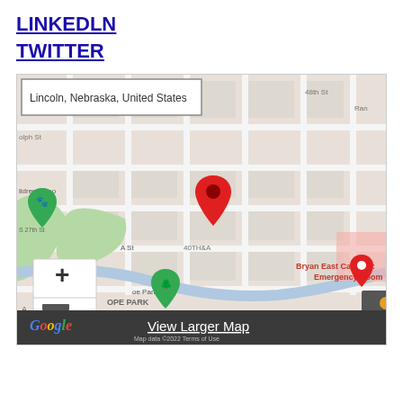LINKEDLN
TWITTER
[Figure (map): Google Map showing Lincoln, Nebraska, United States. Red location pin at 40TH & A intersection. Bryan East Campus: Emergency Room labeled with red pin on right side. Children's Zoo with green paw print pin on left. Antelope Park with green tree pin. Plus and minus zoom controls bottom left. Google logo bottom left. 'View Larger Map' link at bottom center. Map Data ©2022, Terms of Use shown at bottom.]